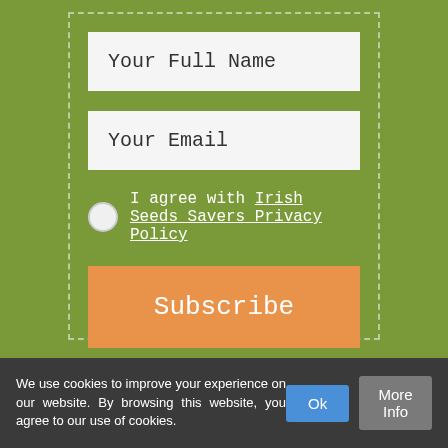Your Full Name
Your Email
I agree with Irish Seeds Savers Privacy Policy
Subscribe
We use cookies to improve your experience on our website. By browsing this website, you agree to our use of cookies.